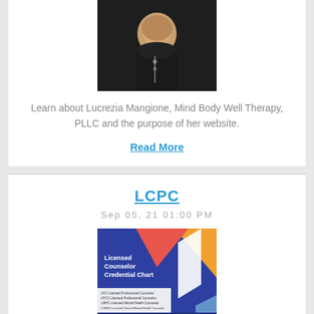[Figure (photo): Portrait photo of a woman wearing dark clothing with a necklace, cropped to show head and shoulders]
Learn about Lucrezia Mangione, Mind Body Well Therapy, PLLC and the purpose of her website.
Read More
LCPC
Sep 05, 21 01:00 PM
[Figure (infographic): Licensed Counselor Credential Chart infographic with colorful geometric shapes (blue, orange, coral) and a list of credentials: LPC - Licensed Professional Counselor, LPCC - Licensed Professional Counselor, LMHC - Licensed Mental Health Counselor, LCMHC - Licensed Clinical Mental Health Counselor, LSW - Licensed Social Worker, LCSW - Licensed Clinical Social Worker, NCC - Nationally Certified Counselor, Board Certified]